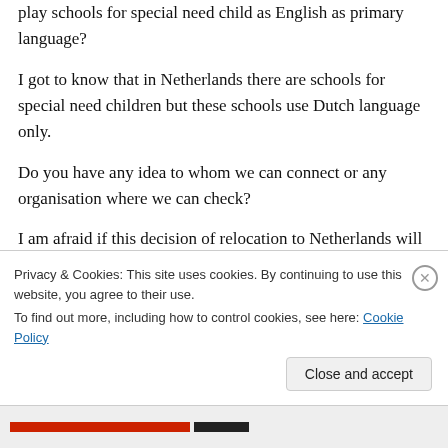We got any therapist (OT and speech) or any play schools for special need child as English as primary language?
I got to know that in Netherlands there are schools for special need children but these schools use Dutch language only.
Do you have any idea to whom we can connect or any organisation where we can check?
I am afraid if this decision of relocation to Netherlands will be in favour of my daughter or
Privacy & Cookies: This site uses cookies. By continuing to use this website, you agree to their use.
To find out more, including how to control cookies, see here: Cookie Policy